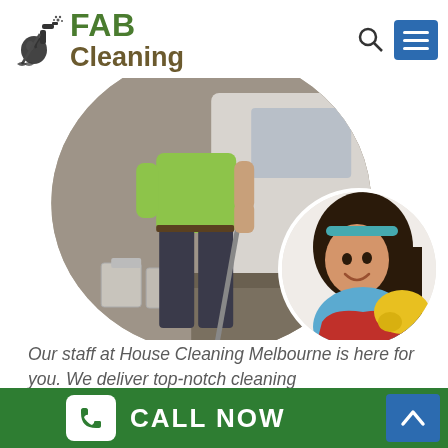[Figure (logo): FAB Cleaning logo with spray bottle icon, green FAB text and brown Cleaning text]
[Figure (photo): Two cleaning staff photos: a man in green shirt with mop standing next to a van (circular crop), and a smiling woman in red apron and yellow gloves (smaller circular inset)]
Our staff at House Cleaning Melbourne is here for you. We deliver top-notch cleaning
[Figure (infographic): Green footer bar with CALL NOW button (white phone box icon) and blue up-arrow button]